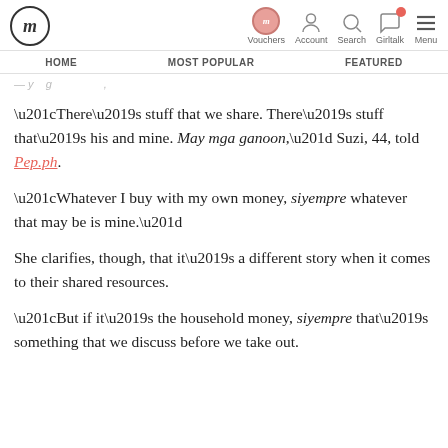fm | Vouchers | Account | Search | Girltalk | Menu | HOME | MOST POPULAR | FEATURED
“There’s stuff that we share. There’s stuff that’s his and mine. May mga ganoon,” Suzi, 44, told Pep.ph.
“Whatever I buy with my own money, siyempre whatever that may be is mine.”
She clarifies, though, that it’s a different story when it comes to their shared resources.
“But if it’s the household money, siyempre that’s something that we discuss before we take out.